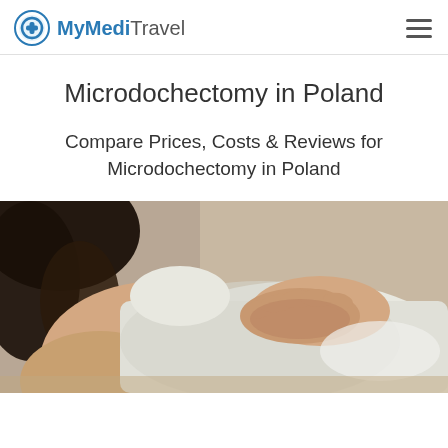MyMediTravel
Microdochectomy in Poland
Compare Prices, Costs & Reviews for Microdochectomy in Poland
[Figure (photo): A woman in a white shirt with her hand placed on her chest, photographed from behind/side angle, soft clinical background.]